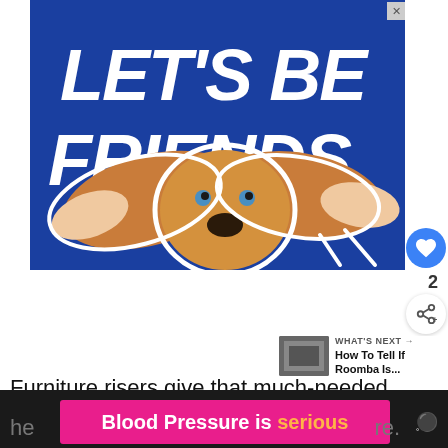[Figure (illustration): Advertisement banner with blue background showing a basset hound dog with ears being held out wide by human hands. Large bold white italic text reads LET'S BE FRIENDS. There is a close/X button in the top right corner of the ad.]
[Figure (other): Circular blue heart/like button icon on the right side]
2
[Figure (other): Circular share button with share icon]
[Figure (other): What's Next widget showing a thumbnail image and text: WHAT'S NEXT → How To Tell If Roomba Is...]
Furniture risers give that much-needed
[Figure (illustration): Pink advertisement banner at the bottom reading Blood Pressure is serious in bold white and orange text on hot pink background]
[Figure (other): Dark bottom bar with weather icon showing temperature symbol]